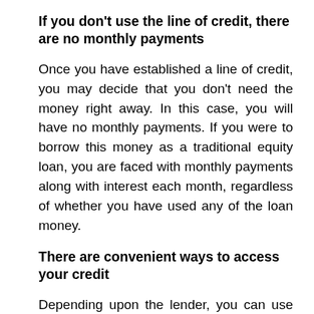If you don't use the line of credit, there are no monthly payments
Once you have established a line of credit, you may decide that you don't need the money right away. In this case, you will have no monthly payments. If you were to borrow this money as a traditional equity loan, you are faced with monthly payments along with interest each month, regardless of whether you have used any of the loan money.
There are convenient ways to access your credit
Depending upon the lender, you can use your line of credit in various ways. A single account can be used with a debit card, allowing you to make several small purchases instead of one large purchase that is common with a second